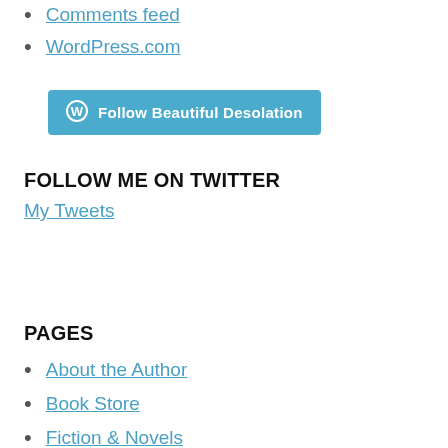Comments feed
WordPress.com
[Figure (other): Follow Beautiful Desolation button with WordPress logo]
FOLLOW ME ON TWITTER
My Tweets
PAGES
About the Author
Book Store
Fiction & Novels
Non-Fiction
Other Media